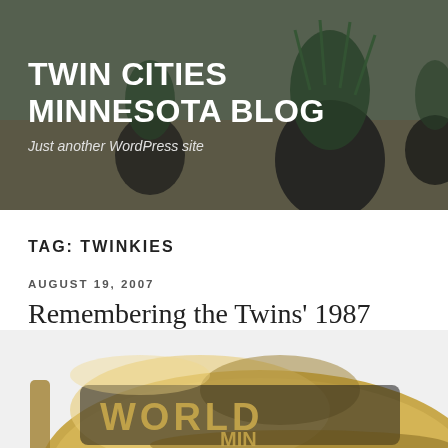[Figure (photo): Header banner photo of potted plants on a wooden table with a blurred background, overlaid with white bold text for the blog title and tagline.]
TWIN CITIES MINNESOTA BLOG
Just another WordPress site
TAG: TWINKIES
AUGUST 19, 2007
Remembering the Twins' 1987 World Series
[Figure (photo): Close-up photo of a gold championship ring with black lettering, partially cropped, showing the side of the ring with text.]